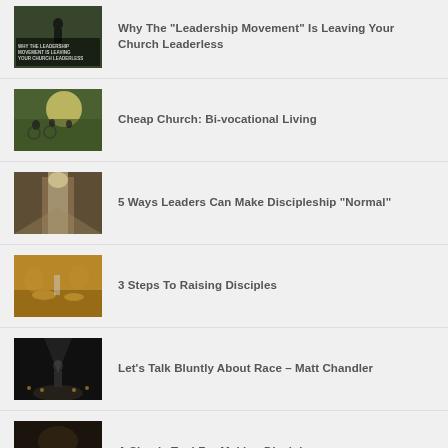Why The “Leadership Movement” Is Leaving Your Church Leaderless
Cheap Church: Bi-vocational Living
5 Ways Leaders Can Make Discipleship “Normal”
3 Steps To Raising Disciples
Let’s Talk Bluntly About Race – Matt Chandler
A Simple Tool For Making Disciples